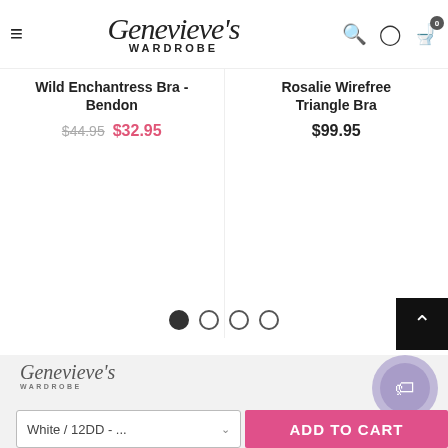Genevieve's WARDROBE
Wild Enchantress Bra - Bendon
$44.95  $32.95
Rosalie Wirefree Triangle Bra
$99.95
[Figure (other): Carousel pagination dots — 1 filled, 3 empty]
Genevieve's WARDROBE footer logo
White / 12DD - ...
ADD TO CART